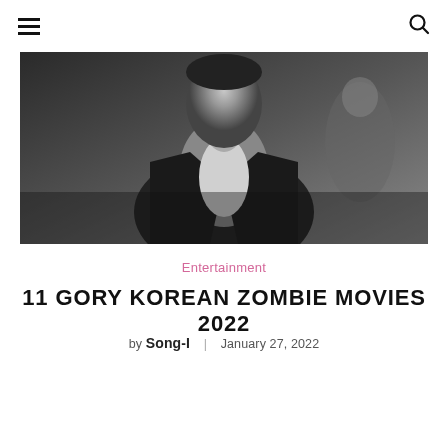☰  🔍
[Figure (photo): Black and white photo of a man in a dark blazer with an open white shirt, at what appears to be a formal event, with blurred figures in the background.]
Entertainment
11 GORY KOREAN ZOMBIE MOVIES 2022
by Song-I  |  January 27, 2022